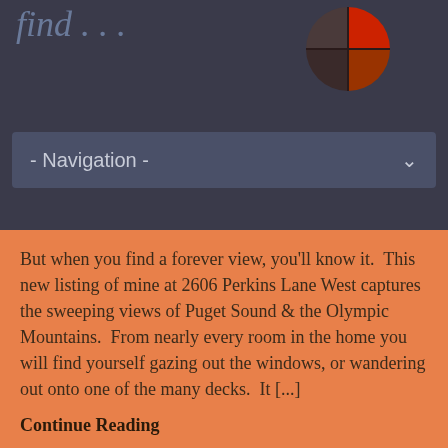find . . .
[Figure (logo): Red and dark circular logo divided into quadrants, top-right portion]
- Navigation -
But when you find a forever view, you'll know it.  This new listing of mine at 2606 Perkins Lane West captures the sweeping views of Puget Sound & the Olympic Mountains.  From nearly every room in the home you will find yourself gazing out the windows, or wandering out onto one of the many decks.  It [...]
Continue Reading
Once in a Blue Moon . . .
Real Estate Ideas  Pride  Real Estate Properties  Real Estate Listings  March 15, 2009